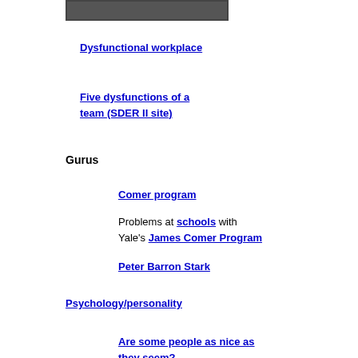[Figure (other): Gray banner/bar at top of page]
Dysfunctional workplace
Five dysfunctions of a team (SDER II site)
Gurus
Comer program
Problems at schools with Yale's James Comer Program
Peter Barron Stark
Psychology/personality
Are some people as nice as they seem?
Cheating
Emotional maturity
Empathy
Girl Culture and office politics
How to stay in control: by digging up dirt